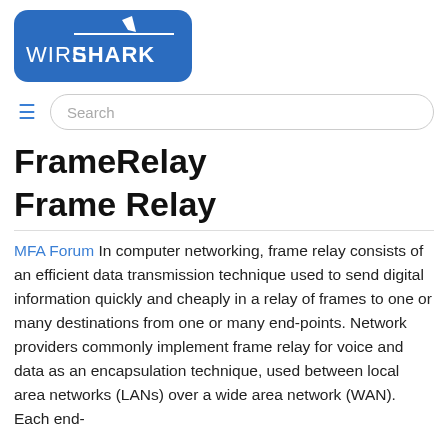[Figure (logo): Wireshark logo — blue rounded rectangle with white shark fin and 'WIRESHARK' text in white (WIRE in thin weight, SHARK in bold).]
≡  Search
FrameRelay
Frame Relay
MFA Forum In computer networking, frame relay consists of an efficient data transmission technique used to send digital information quickly and cheaply in a relay of frames to one or many destinations from one or many end-points. Network providers commonly implement frame relay for voice and data as an encapsulation technique, used between local area networks (LANs) over a wide area network (WAN). Each end-